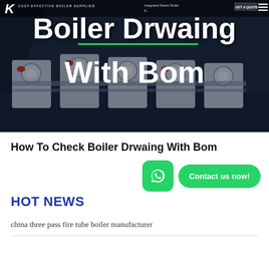[Figure (screenshot): Website hero banner showing industrial boilers in dark background with company logo and navigation]
Boiler Drwaing With Bom
How To Check Boiler Drwaing With Bom
HOT NEWS
china three pass fire tube boiler manufacturer